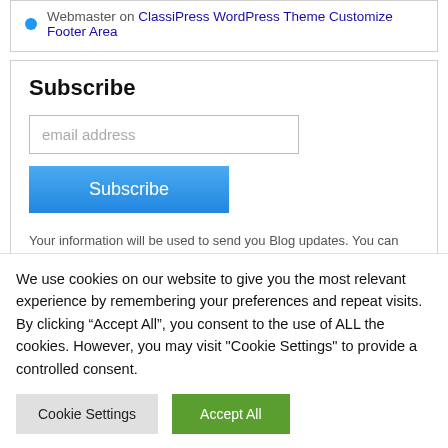Webmaster on ClassiPress WordPress Theme Customize Footer Area
Subscribe
email address
Subscribe
Your information will be used to send you Blog updates. You can change your mind at any time by clicking the unsubscribe link at the bottom of any email that you receive from me. You can find details about mbrsolution
We use cookies on our website to give you the most relevant experience by remembering your preferences and repeat visits. By clicking “Accept All”, you consent to the use of ALL the cookies. However, you may visit "Cookie Settings" to provide a controlled consent.
Cookie Settings
Accept All